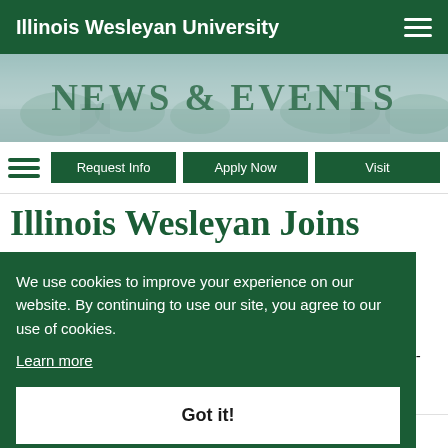Illinois Wesleyan University
[Figure (screenshot): News & Events banner with light teal/blue-green background showing campus imagery and large text 'NEWS & EVENTS']
Request Info | Apply Now | Visit
Illinois Wesleyan Joins
We use cookies to improve your experience on our website. By continuing to use our site, you agree to our use of cookies. Learn more
Got it!
ity, in
c
a two-
Publishing Coalition (LPC). The project emerged from